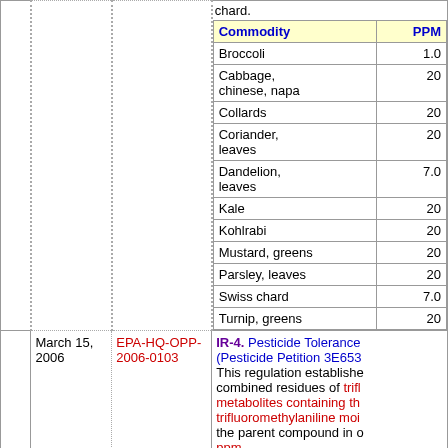| Commodity | PPM |
| --- | --- |
| Broccoli | 1.0 |
| Cabbage, chinese, napa | 20 |
| Collards | 20 |
| Coriander, leaves | 20 |
| Dandelion, leaves | 7.0 |
| Kale | 20 |
| Kohlrabi | 20 |
| Mustard, greens | 20 |
| Parsley, leaves | 20 |
| Swiss chard | 7.0 |
| Turnip, greens | 20 |
chard.
March 15, 2006
EPA-HQ-OPP-2006-0103
IR-4. Pesticide Tolerance (Pesticide Petition 3E653... This regulation establishes combined residues of trifl... metabolites containing th... trifluoromethylaniline moi... the parent compound in c... ppm.